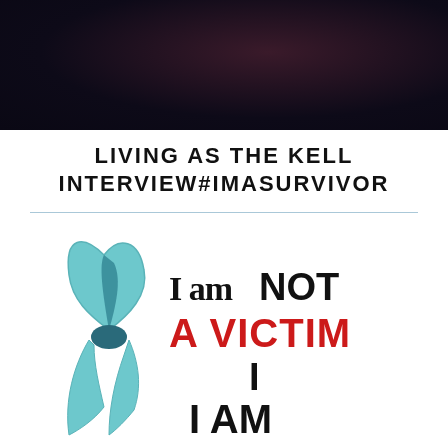[Figure (photo): Dark banner image with deep purple/dark background at top of page]
LIVING AS THE KELL INTERVIEW#IMASURVIVOR
[Figure (illustration): Teal awareness ribbon on left side with text 'I am NOT A VICTIM I AM' in black and red stamped letters on white background]